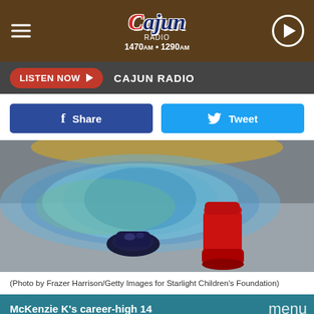[Figure (logo): Cajun Radio logo with 1470am and 1290am frequencies, navigation menu icon, and play button]
LISTEN NOW ▶  CAJUN RADIO
[Figure (other): Facebook Share button and Twitter Tweet button]
[Figure (photo): Photo of colorful tutu skirt with blue glitter shoes and red boots on a gray floor, with a gold drum or mirror visible at top]
(Photo by Frazer Harrison/Getty Images for Starlight Children's Foundation)
[Figure (screenshot): Article preview card with teal header reading McKenzie K's career-high 14 and menu label, showing a baseball player photo below]